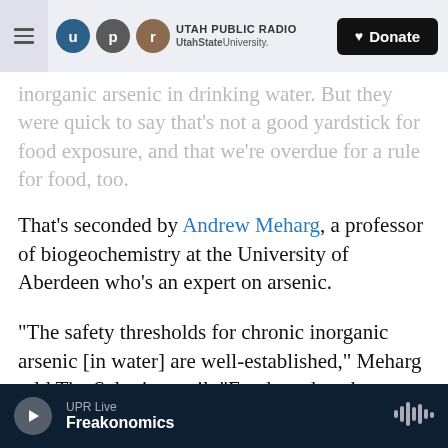Utah Public Radio — UtahState University — Donate
inorganic arsenic in drinking water. But they were quick to say that's not a good yardstick for food exposure, and that we're overdue for a rule for food, too.
That's seconded by Andrew Meharg, a professor of biogeochemistry at the University of Aberdeen who's an expert on arsenic.
"The safety thresholds for chronic inorganic arsenic [in water] are well-established," Meharg told The Salt via email. "Food needs to be put on the same footing as water standards." The human body doesn't care whether the arsenic comes from food
UPR Live — Freakonomics